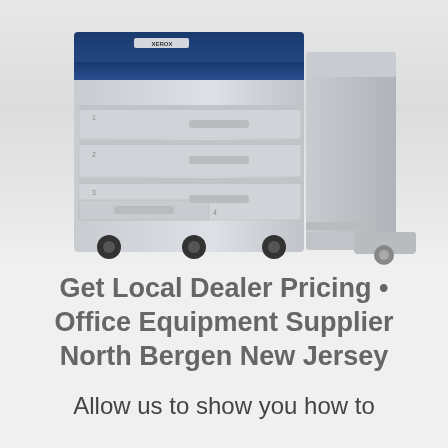[Figure (photo): Photo of a large Xerox office multifunction printer/copier with multiple paper trays and a finishing unit on wheels against a light gray background]
Get Local Dealer Pricing • Office Equipment Supplier North Bergen New Jersey
Allow us to show you how to